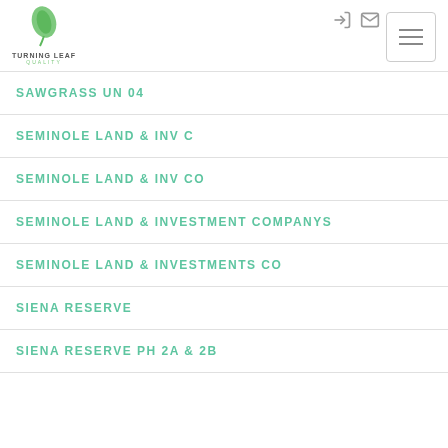Turning Leaf Quality
SAWGRASS UN 04
SEMINOLE LAND & INV C
SEMINOLE LAND & INV CO
SEMINOLE LAND & INVESTMENT COMPANYS
SEMINOLE LAND & INVESTMENTS CO
SIENA RESERVE
SIENA RESERVE PH 2A & 2B